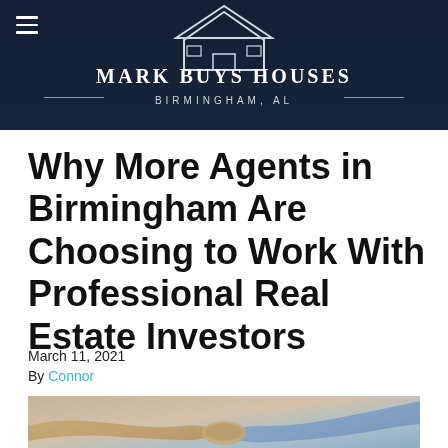MARK BUYS HOUSES · BIRMINGHAM, AL
Why More Agents in Birmingham Are Choosing to Work With Professional Real Estate Investors
March 11, 2021
By Connor
[Figure (photo): Two people shaking hands, a business handshake photo]